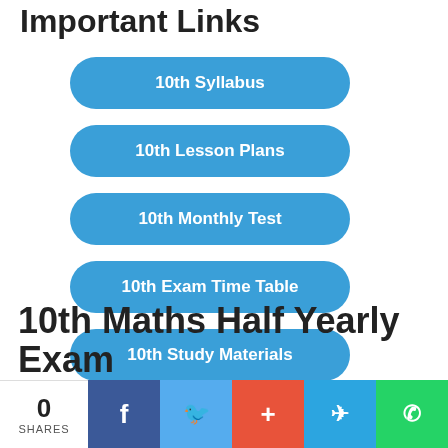Important Links
10th Syllabus
10th Lesson Plans
10th Monthly Test
10th Exam Time Table
10th Study Materials
10th Maths Half Yearly Exam
0 SHARES